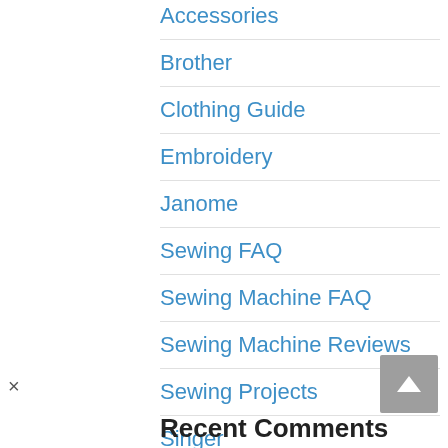Accessories
Brother
Clothing Guide
Embroidery
Janome
Sewing FAQ
Sewing Machine FAQ
Sewing Machine Reviews
Sewing Projects
Singer
Recent Comments